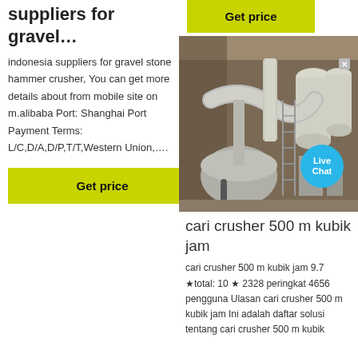suppliers for gravel…
indonesia suppliers for gravel stone hammer crusher, You can get more details about from mobile site on m.alibaba Port: Shanghai Port Payment Terms: L/C,D/A,D/P,T/T,Western Union,….
Get price
Get price
[Figure (photo): Industrial grinding/milling machine equipment photographed inside a large warehouse or factory, with large pipes, cylinders and metal structures. Live Chat bubble visible in lower right.]
cari crusher 500 m kubik jam
cari crusher 500 m kubik jam 9.7 ★total: 10 ★ 2328 peringkat 4656 pengguna Ulasan cari crusher 500 m kubik jam Ini adalah daftar solusi tentang cari crusher 500 m kubik